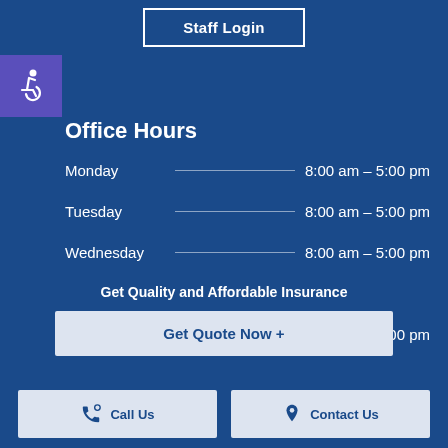Staff Login
[Figure (other): Wheelchair accessibility icon in purple square]
Office Hours
Monday   8:00 am – 5:00 pm
Tuesday   8:00 am – 5:00 pm
Wednesday   8:00 am – 5:00 pm
Thursday   8:00 am – 5:00 pm
Friday   8:00 am – 7:00 pm
Get Quality and Affordable Insurance
Get Quote Now  +
Call Us
Contact Us